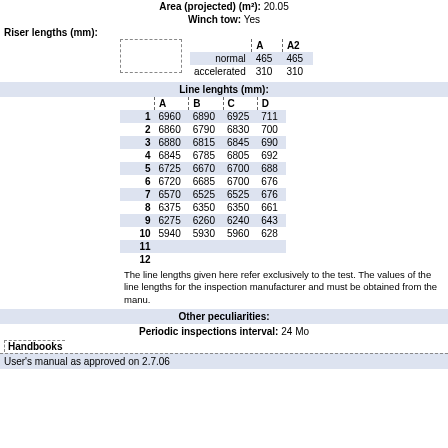| Area (projected) (m²): | 20.05 |
| Winch tow: | Yes |
|  | A | A2 |
| --- | --- | --- |
| normal | 465 | 465 |
| accelerated | 310 | 310 |
Line lenghts (mm):
|  | A | B | C | D |
| --- | --- | --- | --- | --- |
| 1 | 6960 | 6890 | 6925 | 711 |
| 2 | 6860 | 6790 | 6830 | 700 |
| 3 | 6880 | 6815 | 6845 | 690 |
| 4 | 6845 | 6785 | 6805 | 692 |
| 5 | 6725 | 6670 | 6700 | 688 |
| 6 | 6720 | 6685 | 6700 | 676 |
| 7 | 6570 | 6525 | 6525 | 676 |
| 8 | 6375 | 6350 | 6350 | 661 |
| 9 | 6275 | 6260 | 6240 | 643 |
| 10 | 5940 | 5930 | 5960 | 628 |
| 11 |  |  |  |  |
| 12 |  |  |  |  |
The line lengths given here refer exclusively to the test. The values of the line lengths for the inspection manufacturer and must be obtained from the manu.
Other peculiarities:
Periodic inspections interval: 24 Mo
Handbooks
User's manual as approved on 2.7.06